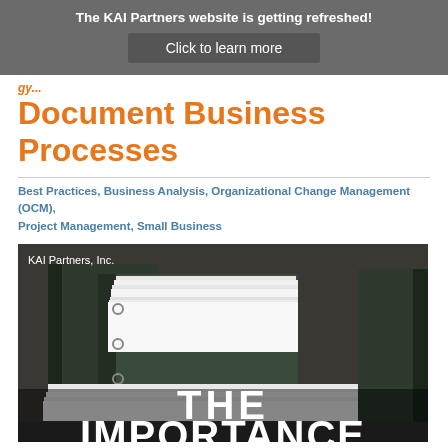The KAI Partners website is getting refreshed!
Click to learn more
Document Business Processes
Best Practices, Business Analysis, Organizational Change Management (OCM), Project Management, Small Business
[Figure (photo): Stack of binders overfilled with paper documents on a shelf, with text overlay reading THE IMPORTANCE at the bottom. KAI Partners, Inc. watermark in top left.]